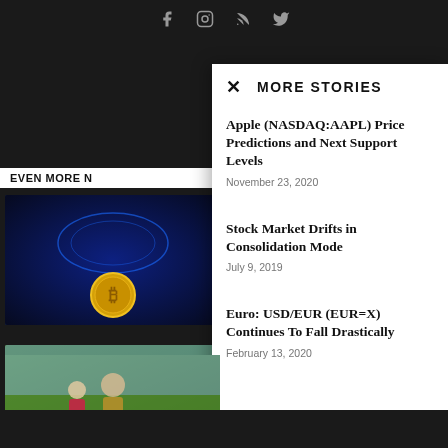Social media icons (Facebook, Instagram, RSS, Twitter)
EVEN MORE N
[Figure (photo): Bitcoin coin glowing blue digital hand background]
[Figure (photo): Person in cowboy hat driving a vehicle in a field]
[Figure (photo): Two superhero characters (Thor) standing in a field]
MORE STORIES
Apple (NASDAQ:AAPL) Price Predictions and Next Support Levels
November 23, 2020
Stock Market Drifts in Consolidation Mode
July 9, 2019
Euro: USD/EUR (EUR=X) Continues To Fall Drastically
February 13, 2020